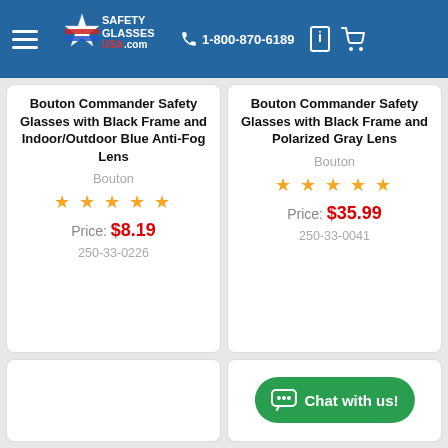Safety Glasses USA — 1-800-870-6189
Bouton Commander Safety Glasses with Black Frame and Indoor/Outdoor Blue Anti-Fog Lens
Bouton
★★★★★
Price: $8.19
250-33-0226
Bouton Commander Safety Glasses with Black Frame and Polarized Gray Lens
Bouton
★★★★★
Price: $35.99
250-33-0041
Chat with us!